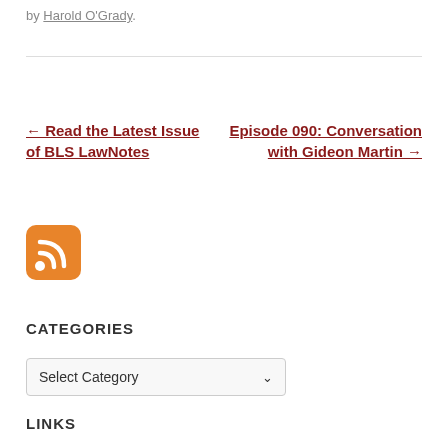by Harold O'Grady.
← Read the Latest Issue of BLS LawNotes
Episode 090: Conversation with Gideon Martin →
[Figure (other): RSS feed icon, orange rounded square with white RSS signal symbol]
CATEGORIES
Select Category
LINKS